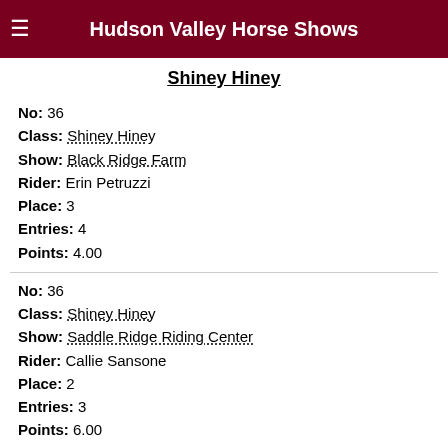Hudson Valley Horse Shows
Shiney Hiney
No: 36
Class: Shiney Hiney
Show: Black Ridge Farm
Rider: Erin Petruzzi
Place: 3
Entries: 4
Points: 4.00
No: 36
Class: Shiney Hiney
Show: Saddle Ridge Riding Center
Rider: Callie Sansone
Place: 2
Entries: 3
Points: 6.00
No: 36
Class: Shiney Hiney
Show: Old Field Farm Finals